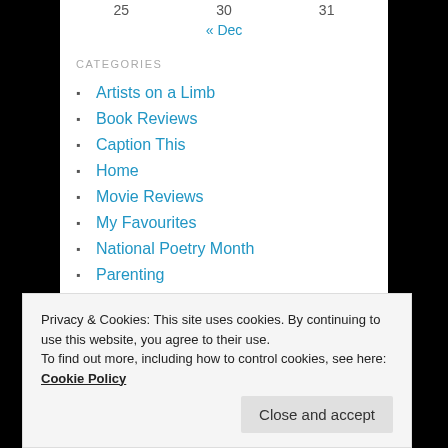25   30   31
« Dec
CATEGORIES
Artists on a Limb
Book Reviews
Caption This
Home
Movie Reviews
My Favourites
National Poetry Month
Parenting
Spotlight on Authors
Teacher's Corner
Privacy & Cookies: This site uses cookies. By continuing to use this website, you agree to their use. To find out more, including how to control cookies, see here: Cookie Policy
Close and accept